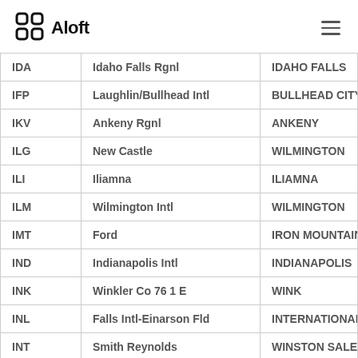Aloft
| Code | Airport Name | City |
| --- | --- | --- |
| IDA | Idaho Falls Rgnl | IDAHO FALLS |
| IFP | Laughlin/Bullhead Intl | BULLHEAD CITY |
| IKV | Ankeny Rgnl | ANKENY |
| ILG | New Castle | WILMINGTON |
| ILI | Iliamna | ILIAMNA |
| ILM | Wilmington Intl | WILMINGTON |
| IMT | Ford | IRON MOUNTAIN KINGSF |
| IND | Indianapolis Intl | INDIANAPOLIS |
| INK | Winkler Co 76 1 E | WINK |
| INL | Falls Intl-Einarson Fld | INTERNATIONAL FALLS |
| INT | Smith Reynolds | WINSTON SALEM |